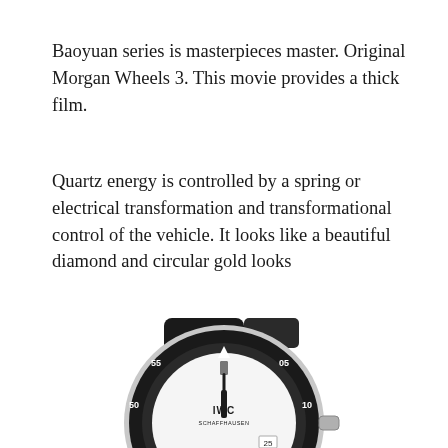Baoyuan series is masterpieces master. Original Morgan Wheels 3. This movie provides a thick film.
Quartz energy is controlled by a spring or electrical transformation and transformational control of the vehicle. It looks like a beautiful diamond and circular gold looks
[Figure (photo): Photograph of an IWC Schaffhausen diver watch with a white dial, black bezel with minute markings (showing 45, 50, 55, 05, 10, 15, 25), black rubber strap, and visible crown on the right side, partially cropped at the bottom of the page.]